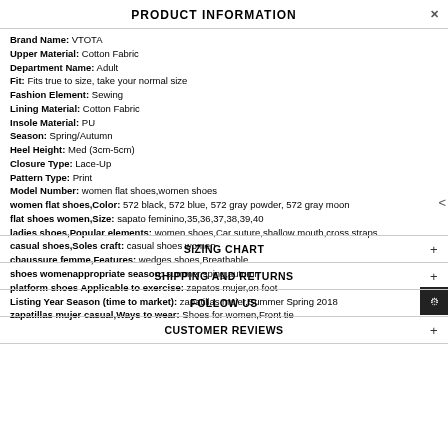PRODUCT INFORMATION
Brand Name: VTOTA
Upper Material: Cotton Fabric
Department Name: Adult
Fit: Fits true to size, take your normal size
Fashion Element: Sewing
Lining Material: Cotton Fabric
Insole Material: PU
Season: Spring/Autumn
Heel Height: Med (3cm-5cm)
Closure Type: Lace-Up
Pattern Type: Print
Model Number: women flat shoes,women shoes
women flat shoes,Color: 572 black, 572 blue, 572 gray powder, 572 gray moon
flat shoes women,Size: sapato feminino,35,36,37,38,39,40
ladies shoes,Popular elements: women shoes,Car suture,shallow mouth,cross straps
casual shoes,Soles craft: casual shoes women
chaussure femme,Features: wedges shoes,Breathable
shoes womenappropriate season: summer,sping,autumn
platform shoes Applicable to exercise: zapatos mujer,on foot
Listing Year Season (time to market): zapatillas mujer,Summer Spring 2018
zapatillas mujer casual,Ways to wear: Shoes for women,Front tie
SIZING CHART
SHIPPING AND RETURNS
FOLLOW US
CUSTOMER REVIEWS